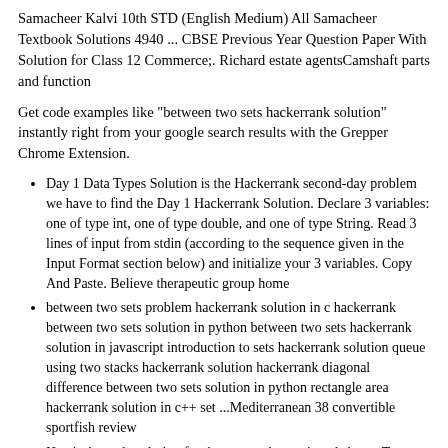Samacheer Kalvi 10th STD (English Medium) All Samacheer Textbook Solutions 4940 ... CBSE Previous Year Question Paper With Solution for Class 12 Commerce;. Richard estate agentsCamshaft parts and function
Get code examples like "between two sets hackerrank solution" instantly right from your google search results with the Grepper Chrome Extension.
Day 1 Data Types Solution is the Hackerrank second-day problem we have to find the Day 1 Hackerrank Solution. Declare 3 variables: one of type int, one of type double, and one of type String. Read 3 lines of input from stdin (according to the sequence given in the Input Format section below) and initialize your 3 variables. Copy And Paste. Believe therapeutic group home
between two sets problem hackerrank solution in c hackerrank between two sets solution in python between two sets hackerrank solution in javascript introduction to sets hackerrank solution queue using two stacks hackerrank solution hackerrank diagonal difference between two sets solution in python rectangle area hackerrank solution in c++ set ...Mediterranean 38 convertible sportfish review
Here's the code solution for the approach mentioned above. Two pairs (X1, Y1) and (X2, Y2) are said to be symmetric pairs if X1 = Y2 and X2 = Y1. *; import java. All solutions